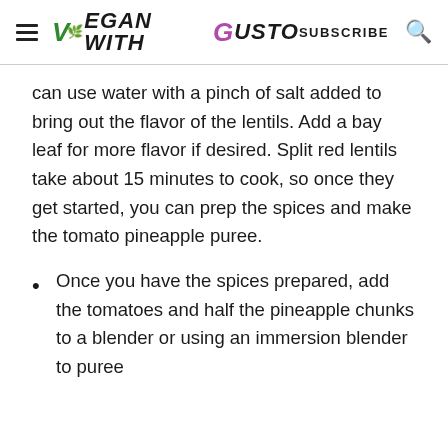VEGAN WITH GUSTO | SUBSCRIBE
can use water with a pinch of salt added to bring out the flavor of the lentils. Add a bay leaf for more flavor if desired. Split red lentils take about 15 minutes to cook, so once they get started, you can prep the spices and make the tomato pineapple puree.
Once you have the spices prepared, add the tomatoes and half the pineapple chunks to a blender or using an immersion blender to puree